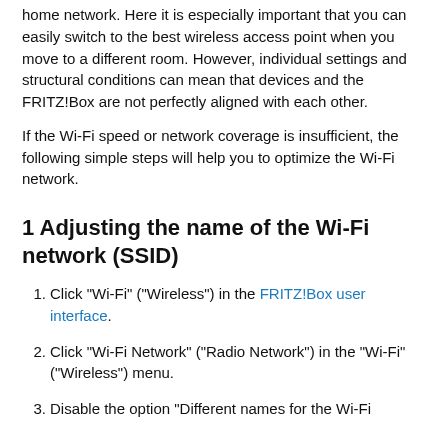home network. Here it is especially important that you can easily switch to the best wireless access point when you move to a different room. However, individual settings and structural conditions can mean that devices and the FRITZ!Box are not perfectly aligned with each other.
If the Wi-Fi speed or network coverage is insufficient, the following simple steps will help you to optimize the Wi-Fi network.
1 Adjusting the name of the Wi-Fi network (SSID)
1. Click "Wi-Fi" ("Wireless") in the FRITZ!Box user interface.
2. Click "Wi-Fi Network" ("Radio Network") in the "Wi-Fi" ("Wireless") menu.
3. Disable the option "Different names for the Wi-Fi